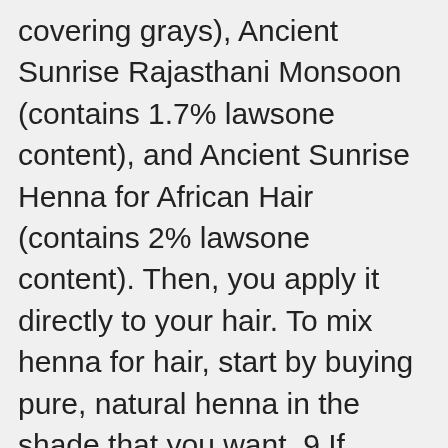covering grays), Ancient Sunrise Rajasthani Monsoon (contains 1.7% lawsone content), and Ancient Sunrise Henna for African Hair (contains 2% lawsone content). Then, you apply it directly to your hair. To mix henna for hair, start by buying pure, natural henna in the shade that you want. 9 If you're a gray hair'ed natural, proceed with caution. I left cassia for henna for one reason- I wanted bigger hair. Some naturals add conditioner to theirs, creating a “henna gloss,” which results in a lighter treatment. Many ladies have preconceived notions about how it affects natural hair like: While, henna can loosen your curl pattern, it's only temporary and if one is to be honest it’s not that much of a loosening effect. In fact, you can use it for its additional hair benefits (without having to change your hair color). The Henna Guys Jet Black Henna Hair &